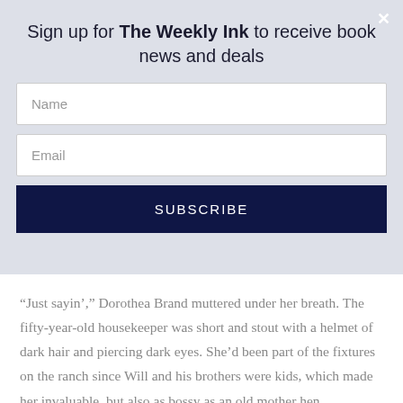Sign up for The Weekly Ink to receive book news and deals
[Figure (screenshot): Newsletter signup form with Name input field, Email input field, and SUBSCRIBE button on a light grey background with a close (×) button in the top-right corner.]
“Just sayin’,” Dorothea Brand muttered under her breath. The fifty-year-old housekeeper was short and stout with a helmet of dark hair and piercing dark eyes. She’d been part of the fixtures on the ranch since Will and his brothers were kids, which made her invaluable, but also as bossy as an old mother hen.